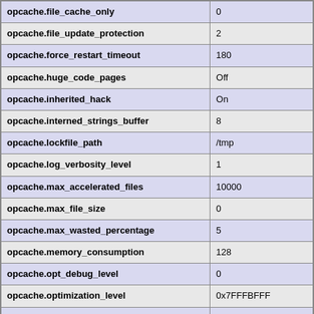| Directive | Value |
| --- | --- |
| opcache.file_cache_only | 0 |
| opcache.file_update_protection | 2 |
| opcache.force_restart_timeout | 180 |
| opcache.huge_code_pages | Off |
| opcache.inherited_hack | On |
| opcache.interned_strings_buffer | 8 |
| opcache.lockfile_path | /tmp |
| opcache.log_verbosity_level | 1 |
| opcache.max_accelerated_files | 10000 |
| opcache.max_file_size | 0 |
| opcache.max_wasted_percentage | 5 |
| opcache.memory_consumption | 128 |
| opcache.opt_debug_level | 0 |
| opcache.optimization_level | 0x7FFFBFFF |
| opcache.preferred_memory_model | no value |
| opcache.protect_memory | 0 |
| opcache.restrict_api | no value |
| opcache.revalidate_freq | 2 |
| opcache.revalidate_path | Off |